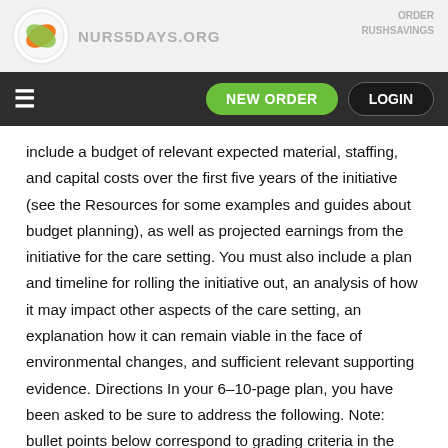NURS5DAYS.ORG | NEW ORDER | LOGIN
include a budget of relevant expected material, staffing, and capital costs over the first five years of the initiative (see the Resources for some examples and guides about budget planning), as well as projected earnings from the initiative for the care setting. You must also include a plan and timeline for rolling the initiative out, an analysis of how it may impact other aspects of the care setting, an explanation how it can remain viable in the face of environmental changes, and sufficient relevant supporting evidence. Directions In your 6–10-page plan, you have been asked to be sure to address the following. Note: bullet points below correspond to grading criteria in the guide. Be sure your work is, at minimum, addressing each of the bullets below. You may also want to read the scoring guide and the Guiding Questions: Implementation Plan for a